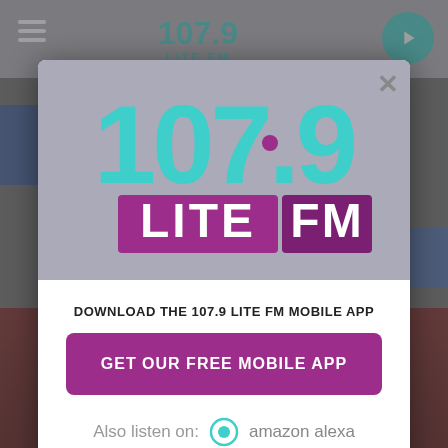[Figure (screenshot): 107.9 Lite FM website screenshot background with navigation bar, hamburger menu icon, and play button]
[Figure (logo): 107.9 LITE FM radio station logo with teal numerals '107.9' and purple 'LITE FM' wordmark on a grey background inside a modal popup]
DOWNLOAD THE 107.9 LITE FM MOBILE APP
GET OUR FREE MOBILE APP
Also listen on:  amazon alexa